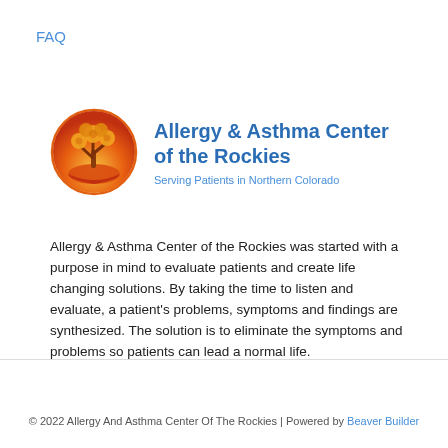FAQ
[Figure (logo): Allergy & Asthma Center of the Rockies logo with orange and red tree/hand illustration in a circular border, with blue text reading 'Allergy & Asthma Center of the Rockies' and subtitle 'Serving Patients in Northern Colorado']
Allergy & Asthma Center of the Rockies was started with a purpose in mind to evaluate patients and create life changing solutions. By taking the time to listen and evaluate, a patient's problems, symptoms and findings are synthesized. The solution is to eliminate the symptoms and problems so patients can lead a normal life.
© 2022 Allergy And Asthma Center Of The Rockies | Powered by Beaver Builder